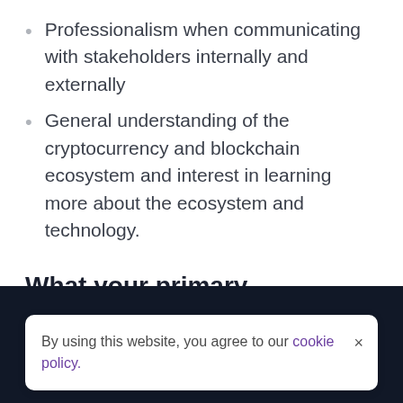Professionalism when communicating with stakeholders internally and externally
General understanding of the cryptocurrency and blockchain ecosystem and interest in learning more about the ecosystem and technology.
What your primary responsibilities will be:
Act as the main point of contact for key
By using this website, you agree to our cookie policy.